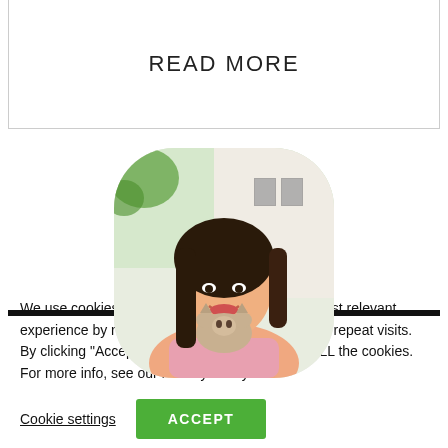READ MORE
[Figure (photo): Profile photo of a young woman with long dark hair holding a small cat/kitten, smiling, with a white interior background. The photo is displayed in a rounded square frame.]
We use cookies on our website to give you the most relevant experience by remembering your preferences and repeat visits. By clicking “Accept”, you consent to the use of ALL the cookies. For more info, see our Privacy Policy.
Cookie settings
ACCEPT